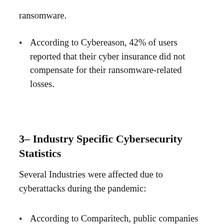ransomware.
According to Cybereason, 42% of users reported that their cyber insurance did not compensate for their ransomware-related losses.
3– Industry Specific Cybersecurity Statistics
Several Industries were affected due to cyberattacks during the pandemic:
According to Comparitech, public companies lose 8.6% of their value due to cyber